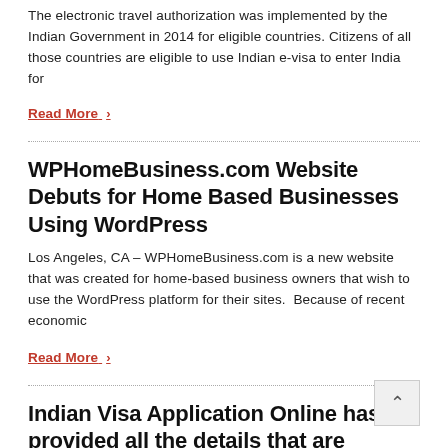The electronic travel authorization was implemented by the Indian Government in 2014 for eligible countries. Citizens of all those countries are eligible to use Indian e-visa to enter India for
Read More ›
WPHomeBusiness.com Website Debuts for Home Based Businesses Using WordPress
Los Angeles, CA – WPHomeBusiness.com is a new website that was created for home-based business owners that wish to use the WordPress platform for their sites.  Because of recent economic
Read More ›
Indian Visa Application Online has provided all the details that are necessary for applying for an Indian e-Visa like the